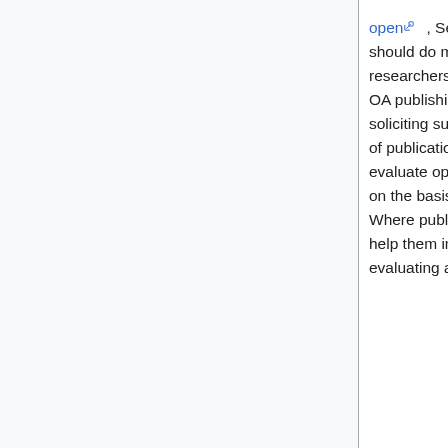open, September 12, 2012. Recommendation 4.1: "We should do more to make publishers, editors, referees and researchers aware of standards of professional conduct for OA publishing, for example on licensing, editorial process, soliciting submissions, disclosing ownership, and the handling of publication fees. Editors, referees and researchers should evaluate opportunities to engage with publishers and journals on the basis of these standards of professional conduct. Where publishers are not meeting these standards we should help them improve as a first step....As one means for evaluating a new or